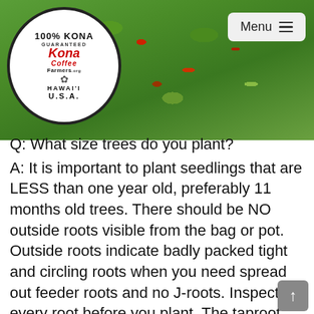[Figure (photo): Coffee tree branches with red and green coffee cherries against green foliage background. KonaCoffeeFarmers.org logo overlay in top left (white oval with red text reading 100% KONA GUARANTEED KonaCoffeeFarmers.org HAWAI'I U.S.A.). Menu button in top right corner.]
Q:  What size trees do you plant?
A:  It is important to plant seedlings that are LESS than one year old, preferably 11 months old trees.  There should be NO outside roots visible from the bag or pot.  Outside roots indicate badly packed tight and circling roots when you need spread out feeder roots and no J-roots.  Inspect every root before you plant.  The taproot should be no larger than 18 to 20 inches.  Do not waste resources and space planting larger plants where the feeder roots are packed and there is a twisted taproot.  I use 1-gallon bags; although an 18" citrus bag is OK IF you have enough soil to plant so large a tree at the